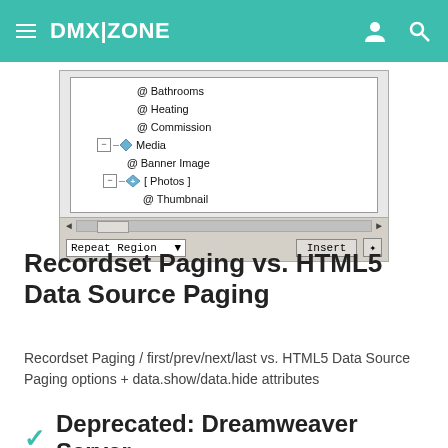DMX|ZONE
[Figure (screenshot): Dreamweaver data bindings tree panel showing Bathrooms, Heating, Commission, Media (with Banner Image), and Photos (with Thumbnail) nodes. Bottom bar shows Repeat Region dropdown and Insert button.]
Recordset Paging vs. HTML5 Data Source Paging
Recordset Paging / first/prev/next/last vs. HTML5 Data Source Paging options + data.show/data.hide attributes
Deprecated: Dreamweaver Server